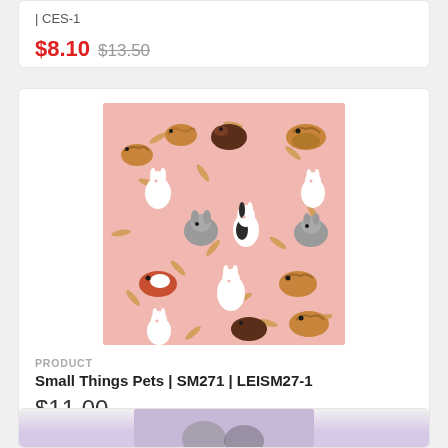| CES-1
$8.10 $13.50
[Figure (illustration): Fabric swatch with small pet animals pattern (rabbits, guinea pigs, hamsters) on pink background with scattered carrot shapes]
PRODUCT
Small Things Pets | SM271 | LEISM27-1
$11.00
[Figure (illustration): Partial fabric swatch with animal pattern on purple/lavender background, partially visible at bottom of page]